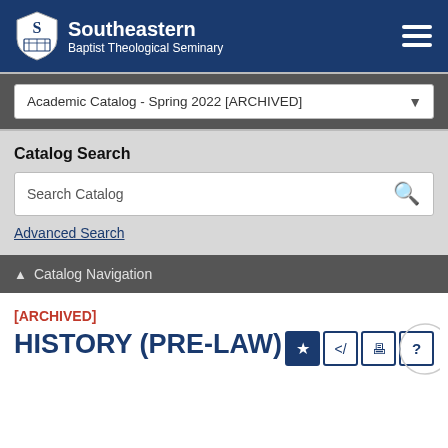Southeastern Baptist Theological Seminary
Academic Catalog - Spring 2022 [ARCHIVED]
Catalog Search
Search Catalog
Advanced Search
Catalog Navigation
[ARCHIVED]
HISTORY (PRE-LAW)